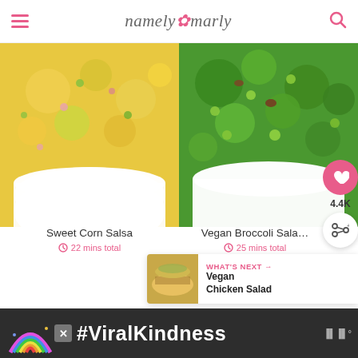namely marly
[Figure (photo): Bowl of sweet corn salsa with colorful vegetables]
[Figure (photo): Bowl of vegan broccoli salad with green vegetables]
Sweet Corn Salsa
22 mins total
Vegan Broccoli Sala…
25 mins total
4.4K
[Figure (photo): WHAT'S NEXT - Vegan Chicken Salad thumbnail]
WHAT'S NEXT → Vegan Chicken Salad
[Figure (photo): #ViralKindness ad banner with rainbow illustration]